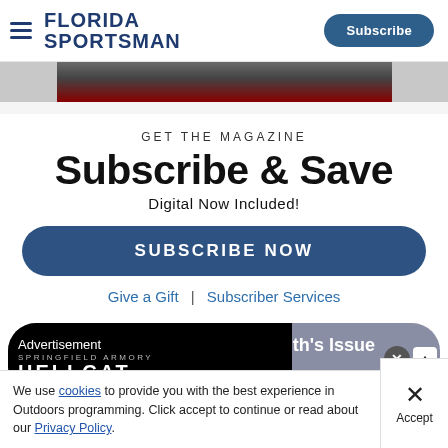Florida Sportsman — Subscribe
[Figure (photo): Partial view of outdoor/vehicle scene — hero image strip at top]
GET THE MAGAZINE
Subscribe & Save
Digital Now Included!
SUBSCRIBE NOW
Give a Gift  |  Subscriber Services
[Figure (screenshot): Advertisement overlay: Springfield Armory HELLCAT HEX WASP ad over 'View This Month's Issue' preview button]
We use cookies to provide you with the best experience in Outdoors programming. Click accept to continue or read about our Privacy Policy.